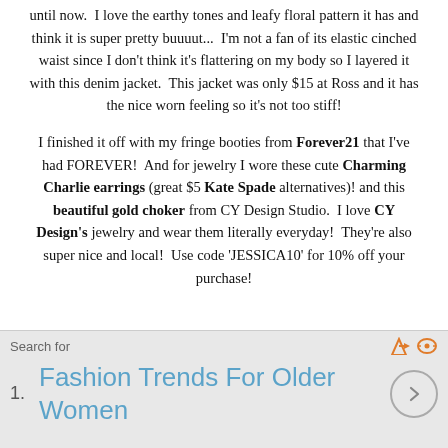until now.  I love the earthy tones and leafy floral pattern it has and think it is super pretty buuuut...  I'm not a fan of its elastic cinched waist since I don't think it's flattering on my body so I layered it with this denim jacket.  This jacket was only $15 at Ross and it has the nice worn feeling so it's not too stiff!
I finished it off with my fringe booties from Forever21 that I've had FOREVER!  And for jewelry I wore these cute Charming Charlie earrings (great $5 Kate Spade alternatives)! and this beautiful gold choker from CY Design Studio.  I love CY Design's jewelry and wear them literally everyday!  They're also super nice and local!  Use code 'JESSICA10' for 10% off your purchase!
[Figure (other): Advertisement section with search bar label 'Search for' and ad icons, listing item '1. Fashion Trends For Older Women' with a circular chevron button]